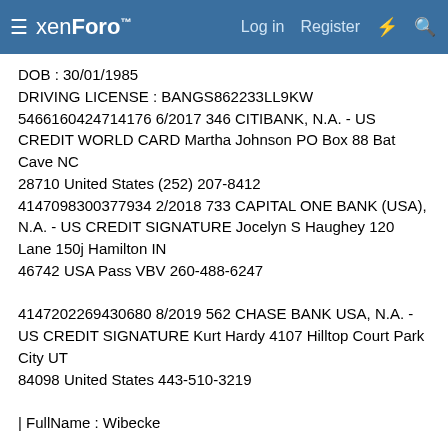xenForo  Log in  Register
DOB : 30/01/1985
DRIVING LICENSE : BANGS862233LL9KW
5466160424714176 6/2017 346 CITIBANK, N.A. - US CREDIT WORLD CARD Martha Johnson PO Box 88 Bat Cave NC
28710 United States (252) 207-8412
4147098300377934 2/2018 733 CAPITAL ONE BANK (USA), N.A. - US CREDIT SIGNATURE Jocelyn S Haughey 120 Lane 150j Hamilton IN
46742 USA Pass VBV 260-488-6247

4147202269430680 8/2019 562 CHASE BANK USA, N.A. - US CREDIT SIGNATURE Kurt Hardy 4107 Hilltop Court Park City UT
84098 United States 443-510-3219

| FullName : Wibecke